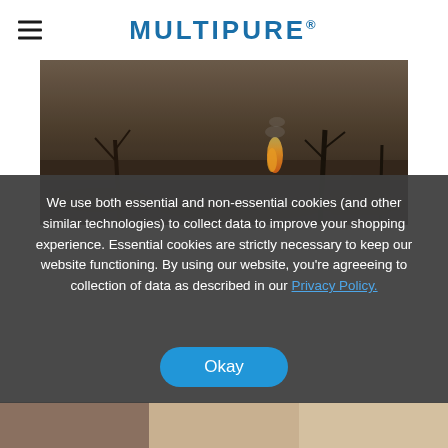MULTIPURE
[Figure (photo): Aerial or ground-level photo of a burned/charred landscape with a small fire/flame visible among dark scorched trees and debris]
We use both essential and non-essential cookies (and other similar technologies) to collect data to improve your shopping experience. Essential cookies are strictly necessary to keep our website functioning. By using our website, you're agreeeing to collection of data as described in our Privacy Policy.
[Figure (photo): Strip of thumbnail photos at the bottom of the page]